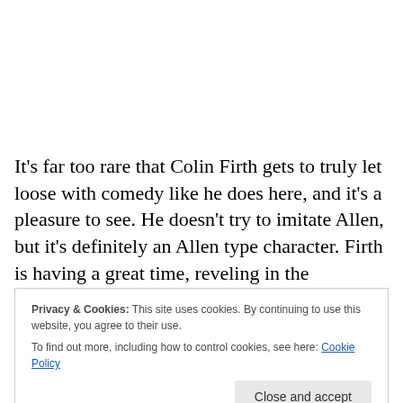It's far too rare that Colin Firth gets to truly let loose with comedy like he does here, and it's a pleasure to see. He doesn't try to imitate Allen, but it's definitely an Allen type character. Firth is having a great time, reveling in the character's snark and misanthropic nature, not afraid to
Privacy & Cookies: This site uses cookies. By continuing to use this website, you agree to their use.
To find out more, including how to control cookies, see here: Cookie Policy
very charming here and spits out Allen's dialogue